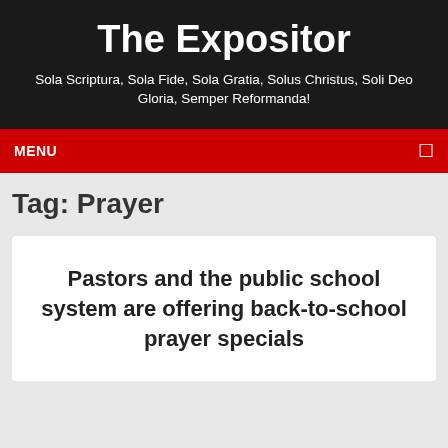The Expositor
Sola Scriptura, Sola Fide, Sola Gratia, Solus Christus, Soli Deo Gloria, Semper Reformanda!
MENU
Tag: Prayer
Pastors and the public school system are offering back-to-school prayer specials